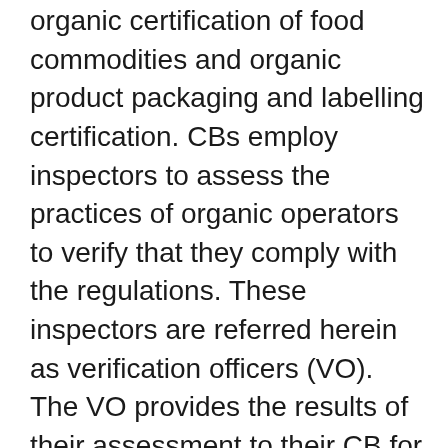organic certification of food commodities and organic product packaging and labelling certification. CBs employ inspectors to assess the practices of organic operators to verify that they comply with the regulations. These inspectors are referred herein as verification officers (VO). The VO provides the results of their assessment to their CB for evaluation. The CB, in turn, certifies as organic only those products that comply with requirements of the regulations.
In order to facilitate the import/export activities and to verify that importing